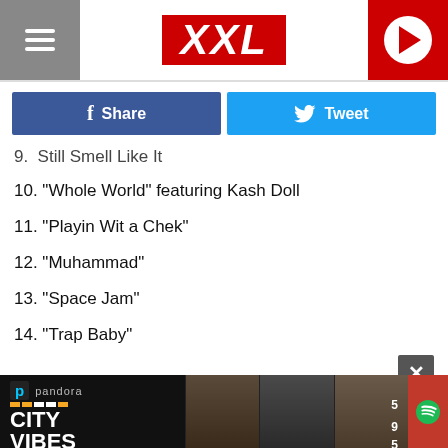XXL
9.  Still Smell Like It
10. "Whole World" featuring Kash Doll
11. "Playin Wit a Chek"
12. "Muhammad"
13. "Space Jam"
14. "Trap Baby"
[Figure (photo): Pandora City Vibes Atlanta advertisement banner with photos of hip-hop artists]